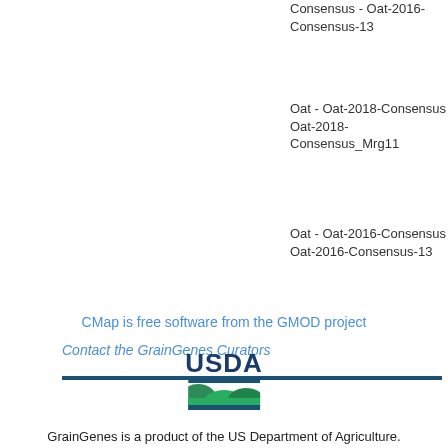Consensus - Oat-2016-Consensus-13
avgbs
Oat - Oat-2018-Consensus - Oat-2018-Consensus_Mrg11
avgbs
Oat - Oat-2016-Consensus - Oat-2016-Consensus-13
avgbs
CMap is free software from the GMOD project
Contact the GrainGenes Curators
[Figure (logo): USDA logo with green field graphic]
GrainGenes is a product of the US Department of Agriculture.